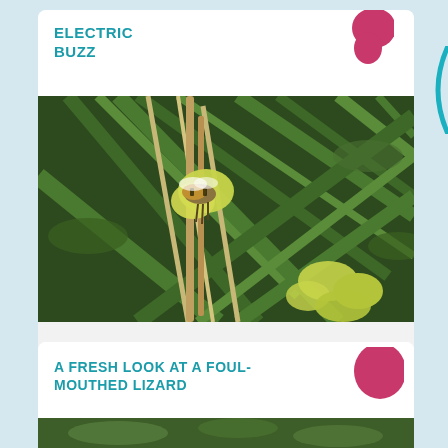ELECTRIC BUZZ
[Figure (photo): Close-up photograph of a bee on yellow flowers surrounded by green grass/plant stems]
A FRESH LOOK AT A FOUL-MOUTHED LIZARD
[Figure (photo): Partial view of a photo below the second card title, showing green vegetation]